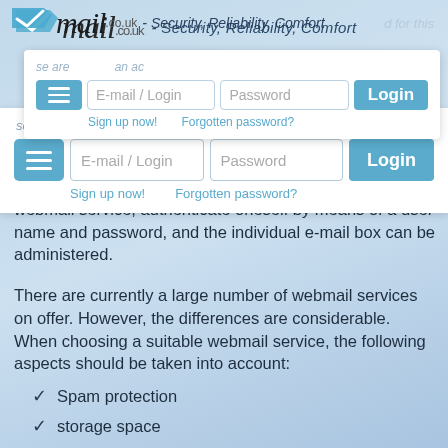mail.co.uk - Security, Reliability, Comfort
[Figure (screenshot): Login overlay with E-mail/Login and Password fields, Login button, Sign up now! and Forgotten password? links, and a hamburger menu button]
services, it is sufficient to navigate to the homepage of the webmail service, authenticate oneself by means of a user name and password, and the individual e-mail box can be administered.
There are currently a large number of webmail services on offer. However, the differences are considerable. When choosing a suitable webmail service, the following aspects should be taken into account:
Spam protection
storage space
maximum size of attachments when receiving and sending
user-friendliness
virus protection
range of additional communication media such as SMS, fax or answering machine